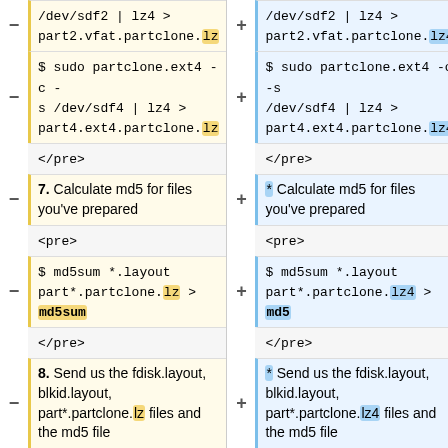− /dev/sdf2 | lz4 > part2.vfat.partclone.lz (highlighted: lz)
+ /dev/sdf2 | lz4 > part2.vfat.partclone.lz4 (highlighted: lz4)
− $ sudo partclone.ext4 -c -s /dev/sdf4 | lz4 > part4.ext4.partclone.lz (highlighted: lz)
+ $ sudo partclone.ext4 -c -s /dev/sdf4 | lz4 > part4.ext4.partclone.lz4 (highlighted: lz4)
</pre>
</pre>
− 7. Calculate md5 for files you've prepared
+ * Calculate md5 for files you've prepared
<pre>
<pre>
− $ md5sum *.layout part*.partclone.lz > md5sum (highlighted: lz, md5sum)
+ $ md5sum *.layout part*.partclone.lz4 > md5 (highlighted: lz4, md5)
</pre>
</pre>
− 8. Send us the fdisk.layout, blkid.layout, part*.partclone.lz files and the md5 file
+ * Send us the fdisk.layout, blkid.layout, part*.partclone.lz4 files and the md5 file